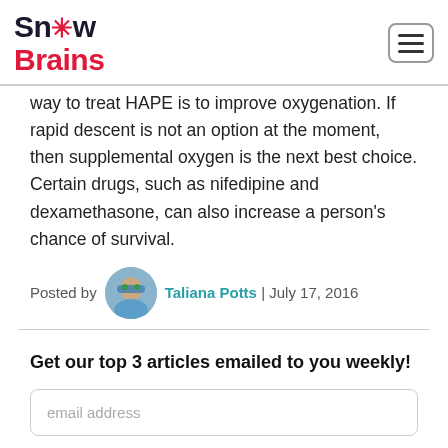Snow Brains
way to treat HAPE is to improve oxygenation. If rapid descent is not an option at the moment, then supplemental oxygen is the next best choice. Certain drugs, such as nifedipine and dexamethasone, can also increase a person's chance of survival.
Posted by Taliana Potts | July 17, 2016
Get our top 3 articles emailed to you weekly!
email address
Subscribe